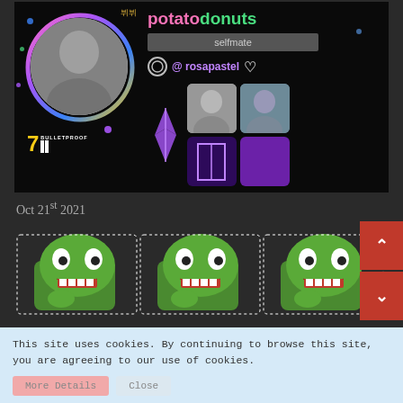[Figure (screenshot): Social profile card on dark background for user 'potatodonuts'. Shows a circular avatar with a colorful ring border featuring a person, username in pink/teal text, 'selfmate' gray bar, '@rosapastel' with heart icon, BTS logo, and a grid of thumbnail images including purple galaxy, solid purple, and photos of people.]
Oct 21st 2021
[Figure (illustration): Three pixel-art Pepe the Frog emojis/stickers side by side, each green with a smirking face, sitting posture.]
This site uses cookies. By continuing to browse this site, you are agreeing to our use of cookies.
More Details
Close